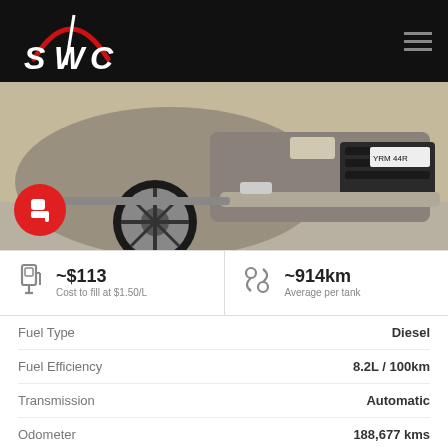[Figure (logo): SWC car dealership logo with red arc and white text on black background]
[Figure (photo): Front view of a grey/tan SUV (Ford Territory style) parked indoors, with red seat icon badge overlay]
~$113 Cost to fill at $1.50/L
~914km Average per tank
|  |  |
| --- | --- |
| Fuel Type | Diesel |
| Fuel Efficiency | 8.2L / 100km |
| Transmission | Automatic |
| Odometer | 188,677 kms |
USED VEHICLE